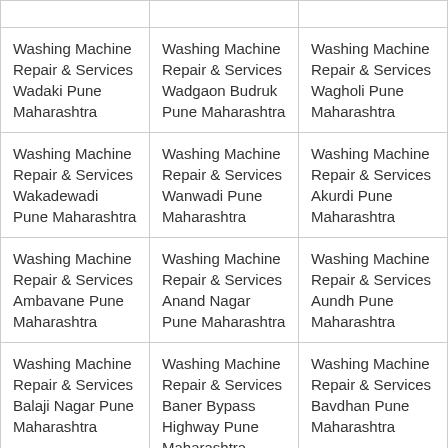|  |  |  |
| Washing Machine Repair & Services Wadaki Pune Maharashtra | Washing Machine Repair & Services Wadgaon Budruk Pune Maharashtra | Washing Machine Repair & Services Wagholi Pune Maharashtra |
| Washing Machine Repair & Services Wakadewadi Pune Maharashtra | Washing Machine Repair & Services Wanwadi Pune Maharashtra | Washing Machine Repair & Services Akurdi Pune Maharashtra |
| Washing Machine Repair & Services Ambavane Pune Maharashtra | Washing Machine Repair & Services Anand Nagar Pune Maharashtra | Washing Machine Repair & Services Aundh Pune Maharashtra |
| Washing Machine Repair & Services Balaji Nagar Pune Maharashtra | Washing Machine Repair & Services Baner Bypass Highway Pune Maharashtra | Washing Machine Repair & Services Bavdhan Pune Maharashtra |